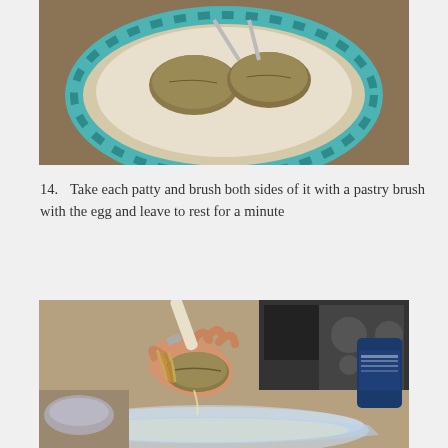[Figure (photo): Top-down view of baked patties on a round plate with teal/blue checkered border, placed on a brown textured surface.]
14. Take each patty and brush both sides of it with a pastry brush with the egg and leave to rest for a minute
[Figure (photo): A hand holding a patty being brushed with a pastry brush over a glass pie dish with egg wash. A microwave and a can are visible in the background.]